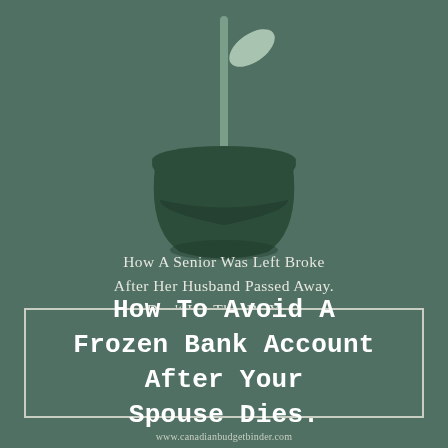[Figure (illustration): A simple flat illustration of a dark green flower pot with a single green stem and leaf, set against a teal-green background.]
How A Senior Was Left Broke After Her Husband Passed Away. Don't Let This Be You!
How To Avoid A Frozen Bank Account After Your Spouse Dies.
www.canadianbudgetbinder.com